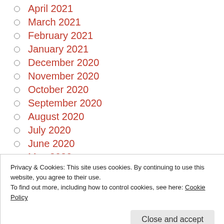April 2021
March 2021
February 2021
January 2021
December 2020
November 2020
October 2020
September 2020
August 2020
July 2020
June 2020
May 2020
April 2020
Privacy & Cookies: This site uses cookies. By continuing to use this website, you agree to their use.
To find out more, including how to control cookies, see here: Cookie Policy
October 2019